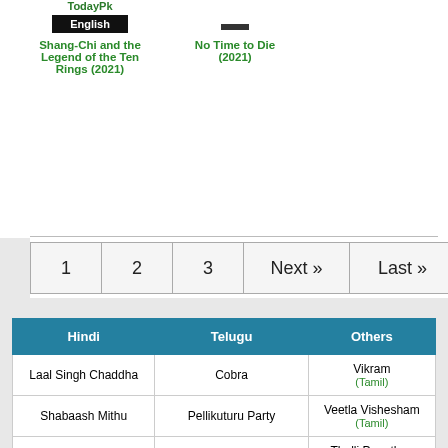TodayPk
English
Shang-Chi and the Legend of the Ten Rings (2021)
No Time to Die (2021)
1
2
3
Next »
Last »
| Hindi | Telugu | Others |
| --- | --- | --- |
| Laal Singh Chaddha | Cobra | Vikram
(Tamil) |
| Shabaash Mithu | Pellikuturu Party | Veetla Vishesham
(Tamil) |
| Hit the First Case | Kalapuram | Thalli Pogathey
(Tamil) |
| Quaid-e-Azam Zindabad | Odela Railway Station |  |
|  | Liger | Maanaadu |